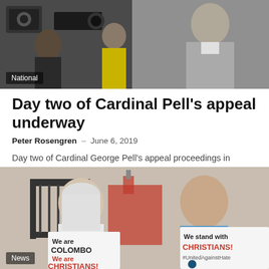[Figure (photo): News photo showing people with cameras/journalists, black and white tones, with a man in grey suit visible at right]
National
Day two of Cardinal Pell's appeal underway
Peter Rosengren – June 6, 2019
Day two of Cardinal George Pell's appeal proceedings in Victoria's Court of Appeal commenced after his legal team spent the previous day attempting to…
[Figure (photo): Two women holding protest signs reading 'We are COLOMBO We are CHRISTIANS!' and 'We stand with CHRISTIANS! #UnitedAgainstHate' in front of ornate gates with a church in background]
News